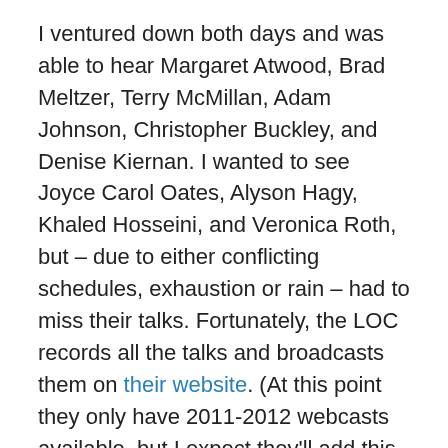I ventured down both days and was able to hear Margaret Atwood, Brad Meltzer, Terry McMillan, Adam Johnson, Christopher Buckley, and Denise Kiernan. I wanted to see Joyce Carol Oates, Alyson Hagy, Khaled Hosseini, and Veronica Roth, but – due to either conflicting schedules, exhaustion or rain – had to miss their talks. Fortunately, the LOC records all the talks and broadcasts them on their website. (At this point they only have 2011-2012 webcasts available, but I expect they'll add this year's soon.) Guess what I'll be doing with my next few weekends?
Of all the sessions I attended, the one that most pleasantly surprised me was Brad Meltzer's talk. I tend to steer clear of authors that crank out thrillers that occupy the top slots on the NYT's best seller list because (alert: unfair judgement coming) they generally strike me as formulaic, so I haven't read any of his books. In fact, had I been